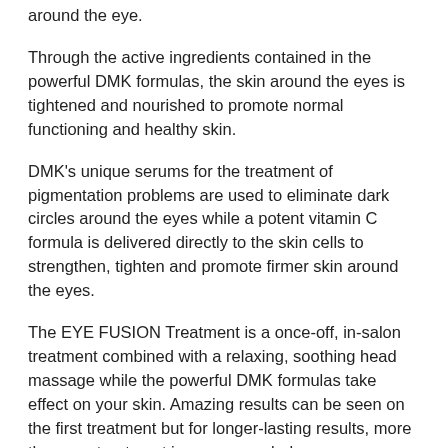around the eye.
Through the active ingredients contained in the powerful DMK formulas, the skin around the eyes is tightened and nourished to promote normal functioning and healthy skin.
DMK's unique serums for the treatment of pigmentation problems are used to eliminate dark circles around the eyes while a potent vitamin C formula is delivered directly to the skin cells to strengthen, tighten and promote firmer skin around the eyes.
The EYE FUSION Treatment is a once-off, in-salon treatment combined with a relaxing, soothing head massage while the powerful DMK formulas take effect on your skin. Amazing results can be seen on the first treatment but for longer-lasting results, more than one treatment is recommended.